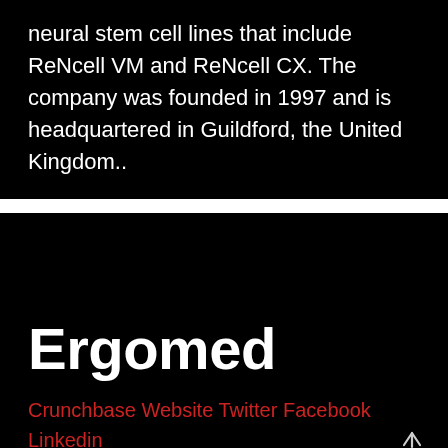neural stem cell lines that include ReNcell VM and ReNcell CX. The company was founded in 1997 and is headquartered in Guildford, the United Kingdom..
Ergomed
Crunchbase Website Twitter Facebook Linkedin